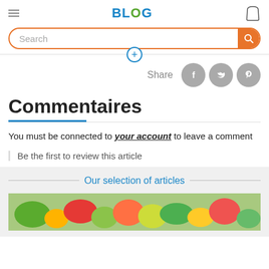BLOG
Search
Share
Commentaires
You must be connected to your account to leave a comment
Be the first to review this article
Our selection of articles
[Figure (photo): Food/vegetables photo strip at bottom]